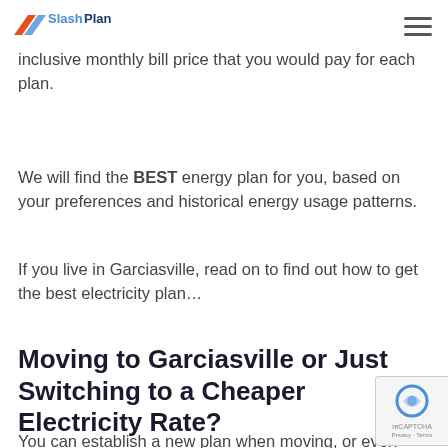SlashPlan logo and navigation
compares them to each other. We take into account all fees, credits, and discounts and present you with an all-inclusive monthly bill price that you would pay for each plan.
We will find the BEST energy plan for you, based on your preferences and historical energy usage patterns.
If you live in Garciasville, read on to find out how to get the best electricity plan...
Moving to Garciasville or Just Switching to a Cheaper Electricity Rate?
You can establish a new plan when moving, or even switch